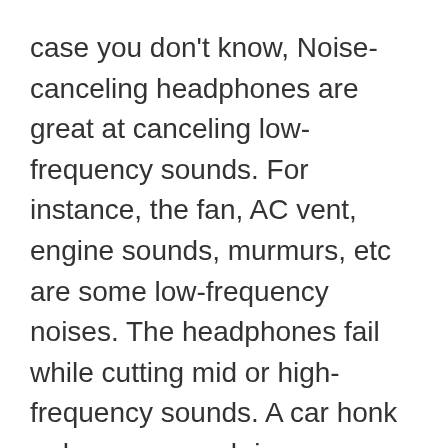case you don't know, Noise-canceling headphones are great at canceling low-frequency sounds. For instance, the fan, AC vent, engine sounds, murmurs, etc are some low-frequency noises. The headphones fail while cutting mid or high-frequency sounds. A car honk or human speech is an example of mid-range or high-frequency sounds. The headphones try to cut these noises but they are still audible, although tinny.
The XM4 carries the same Sony QN1 noise-canceling chip as the XM3 but Sony claims